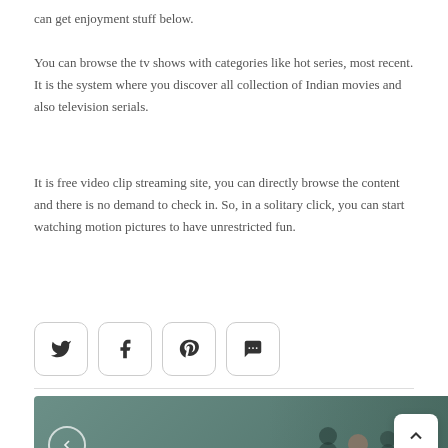can get enjoyment stuff below.
You can browse the tv shows with categories like hot series, most recent. It is the system where you discover all collection of Indian movies and also television serials.
It is free video clip streaming site, you can directly browse the content and there is no demand to check in. So, in a solitary click, you can start watching motion pictures to have unrestricted fun.
[Figure (other): Row of four social sharing icon buttons: Twitter bird, Facebook f, Pinterest P, and speech bubble/comment icon, each in a rounded square border]
[Figure (infographic): Promotional card with teal/green background showing animated/movie characters, orange ENTERTAINMENT category label, back arrow button, and partially visible title 'What exactly is Yesmovies?' with a scroll-to-top button in the corner]